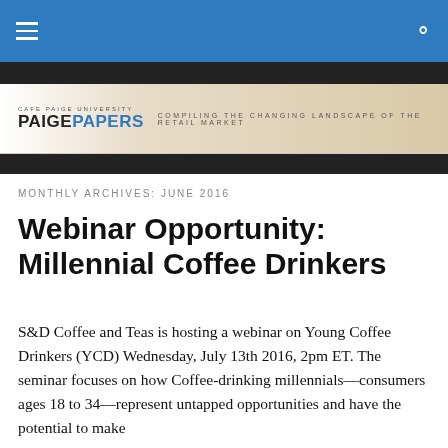PAIGE PAPERS — COMPILING THE CHANGING LANDSCAPE OF THE RETAIL MARKET
MONTHLY ARCHIVES: JUNE 2016
Webinar Opportunity: Millennial Coffee Drinkers
S&D Coffee and Teas is hosting a webinar on Young Coffee Drinkers (YCD) Wednesday, July 13th 2016, 2pm ET. The seminar focuses on how Coffee-drinking millennials—consumers ages 18 to 34—represent untapped opportunities and have the potential to make